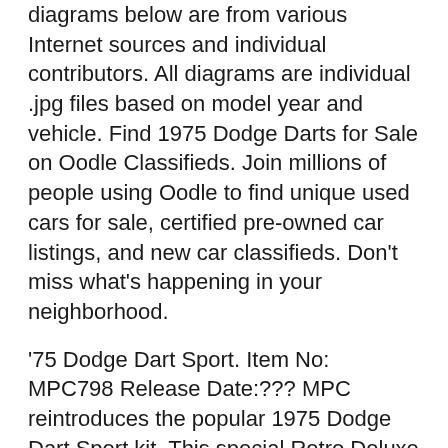diagrams below are from various Internet sources and individual contributors. All diagrams are individual .jpg files based on model year and vehicle. Find 1975 Dodge Darts for Sale on Oodle Classifieds. Join millions of people using Oodle to find unique used cars for sale, certified pre-owned car listings, and new car classifieds. Don't miss what's happening in your neighborhood.
'75 Dodge Dart Sport. Item No: MPC798 Release Date:??? MPC reintroduces the popular 1975 Dodge Dart Sport kit. This special Retro Deluxe reissue restores many desirable parts to the kit, including optional "honeycomb" mag wheels, M/T "cheater" slicks and bonus driver figure with trophy. Find 1975 Dodge Darts for Sale on Oodle Classifieds. Join millions of people using Oodle to